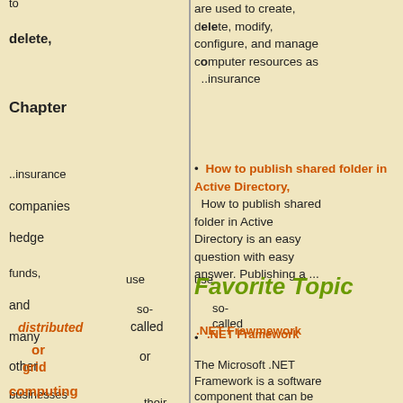are used to create, delete, modify, configure, and manage computer resources as ...
How to publish shared folder in Active Directory. How to publish shared folder in Active Directory is an easy question with easy answer. Publishing a ...
Favorite Topic
.NET Framework. The Microsoft .NET Framework is a software component that can be added to or is usually included with the later versions of the Microsoft Windows operating ...